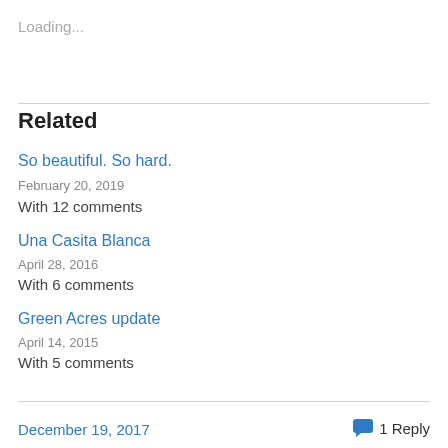Loading...
Related
So beautiful. So hard.
February 20, 2019
With 12 comments
Una Casita Blanca
April 28, 2016
With 6 comments
Green Acres update
April 14, 2015
With 5 comments
December 19, 2017    1 Reply